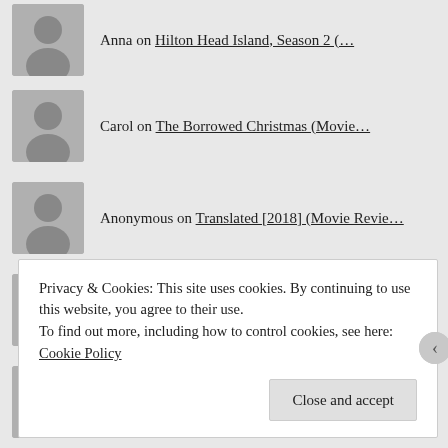Anna on Hilton Head Island, Season 2 (…
Carol on The Borrowed Christmas (Movie…
Anonymous on Translated [2018] (Movie Revie…
LaTanya Williams on A Love That Hurts (Movie Revie…
Mischa on Ruling of the Heart (Movie Rev…
Jana on Easter Eggs in Kendrick Brothe…
Privacy & Cookies: This site uses cookies. By continuing to use this website, you agree to their use.
To find out more, including how to control cookies, see here: Cookie Policy
Close and accept